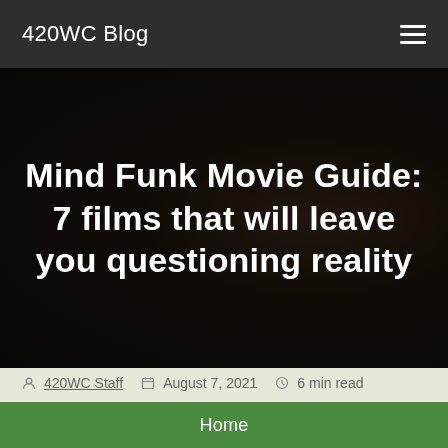420WC Blog
Mind Funk Movie Guide: 7 films that will leave you questioning reality
420WC Staff   August 7, 2021   6 min read
There are movies we watch to laugh, cry, love, and keep us in suspense. Then there are movies that are gritty, disturbing, and complete mind funks belonging in a category all of their own.
Home